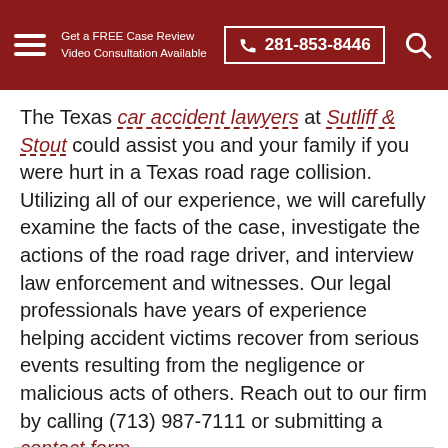Get a FREE Case Review Video Consultation Available | 281-853-8446
The Texas car accident lawyers at Sutliff & Stout could assist you and your family if you were hurt in a Texas road rage collision. Utilizing all of our experience, we will carefully examine the facts of the case, investigate the actions of the road rage driver, and interview law enforcement and witnesses. Our legal professionals have years of experience helping accident victims recover from serious events resulting from the negligence or malicious acts of others. Reach out to our firm by calling (713) 987-7111 or submitting a contact form.